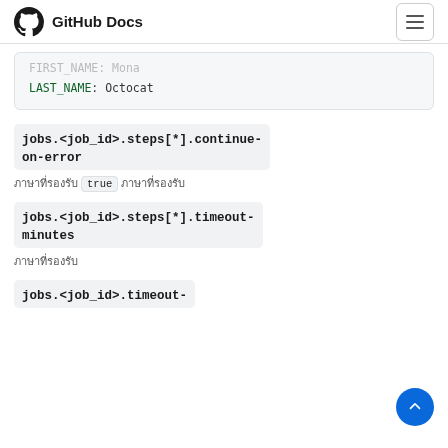GitHub Docs
LAST_NAME: Octocat
jobs.<job_id>.steps[*].continue-on-error
ภาษาที่รองรับ true ภาษาที่รองรับ
jobs.<job_id>.steps[*].timeout-minutes
ภาษาที่รองรับ
jobs.<job_id>.timeout-